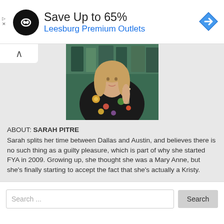[Figure (infographic): Advertisement banner: black circular logo with infinity/loop symbol, text 'Save Up to 65%' and 'Leesburg Premium Outlets' in blue, blue diamond arrow icon on right, small ad labels on left]
[Figure (photo): Person wearing floral top holding a glass, photographed from chest up, background shows shelves or decor]
ABOUT: SARAH PITRE Sarah splits her time between Dallas and Austin, and believes there is no such thing as a guilty pleasure, which is part of why she started FYA in 2009. Growing up, she thought she was a Mary Anne, but she's finally starting to accept the fact that she's actually a Kristy.
Search ...
Search